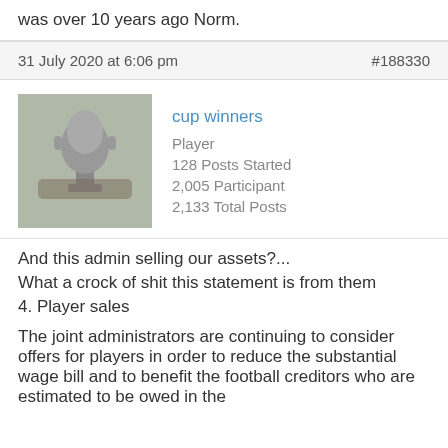was over 10 years ago Norm.
31 July 2020 at 6:06 pm   #188330
cup winners
Player
128 Posts Started
2,005 Participant
2,133 Total Posts
And this admin selling our assets?...
What a crock of shit this statement is from them
4. Player sales
The joint administrators are continuing to consider offers for players in order to reduce the substantial wage bill and to benefit the football creditors who are estimated to be owed in the